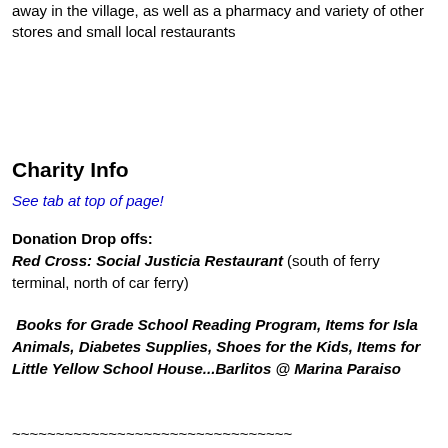away in the village, as well as a pharmacy and variety of other stores and small local restaurants
Charity Info
See tab at top of page!
Donation Drop offs:
Red Cross:  Social Justicia Restaurant (south of ferry terminal, north of car ferry)
Books for Grade School Reading Program, Items for Isla Animals, Diabetes Supplies, Shoes for the Kids, Items for Little Yellow School House...Barlitos @ Marina Paraiso
~~~~~~~~~~~~~~~~~~~~~~~~~~~~~~~~